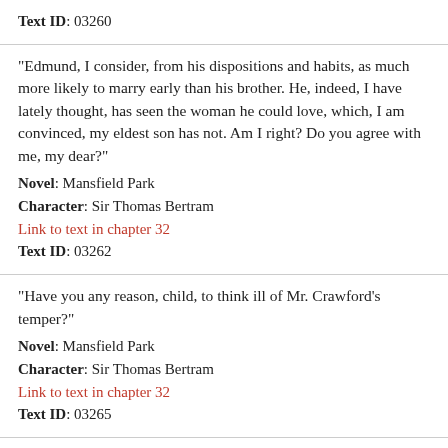Text ID: 03260
"Edmund, I consider, from his dispositions and habits, as much more likely to marry early than his brother. He, indeed, I have lately thought, has seen the woman he could love, which, I am convinced, my eldest son has not. Am I right? Do you agree with me, my dear?"
Novel: Mansfield Park
Character: Sir Thomas Bertram
Link to text in chapter 32
Text ID: 03262
"Have you any reason, child, to think ill of Mr. Crawford's temper?"
Novel: Mansfield Park
Character: Sir Thomas Bertram
Link to text in chapter 32
Text ID: 03265
"It is of no use, I perceive, to talk to you. We had better put an end to this most mortifying conference. Mr. Crawford must not